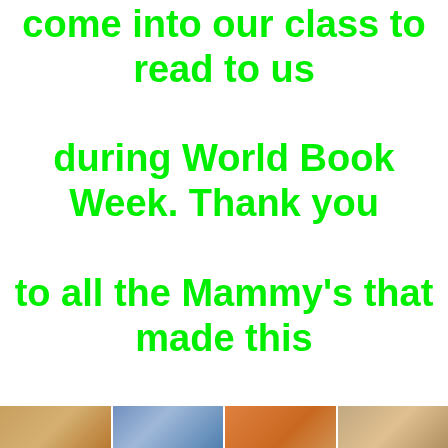come into our class to read to us during World Book Week. Thank you to all the Mammy's that made this week so special! We have made some really lovely memories and we hope you enjoyed visiting us in our classroom!
[Figure (photo): Strip of four classroom photos at the bottom of the page]